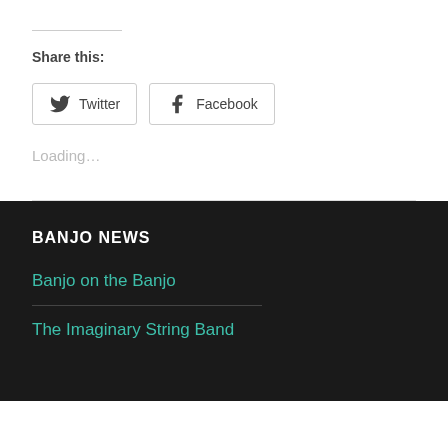Share this:
Twitter  Facebook
Loading…
BANJO NEWS
Banjo on the Banjo
The Imaginary String Band